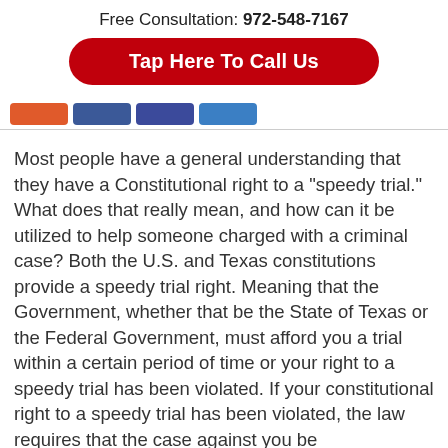Free Consultation: 972-548-7167
[Figure (other): Red rounded button with white bold text: Tap Here To Call Us]
[Figure (other): Row of social media share buttons in red, blue, dark blue, and light blue]
Most people have a general understanding that they have a Constitutional right to a “speedy trial.”  What does that really mean, and how can it be utilized to help someone charged with a criminal case? Both the U.S. and Texas constitutions provide a speedy trial right.  Meaning that the Government, whether that be the State of Texas or the Federal Government, must afford you a trial within a certain period of time or your right to a speedy trial has been violated.  If your constitutional right to a speedy trial has been violated, the law requires that the case against you be